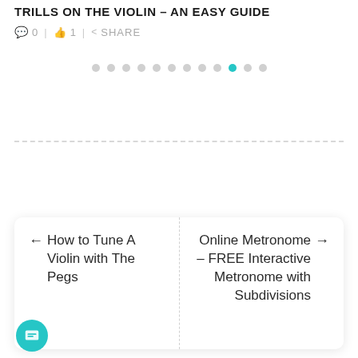TRILLS ON THE VIOLIN – AN EASY GUIDE
0 | 1 | SHARE
[Figure (other): Pagination dots row with 12 dots, the 10th highlighted in teal/cyan]
← How to Tune A Violin with The Pegs
Online Metronome – FREE Interactive Metronome with Subdivisions →